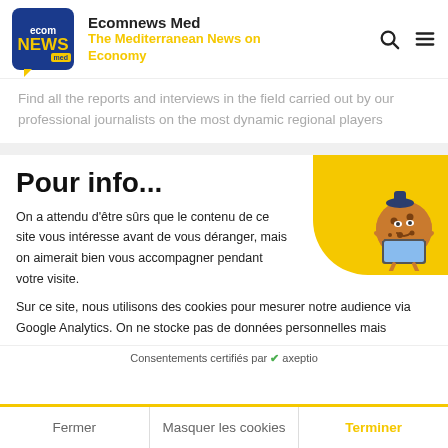Ecomnews Med — The Mediterranean News on Economy
Find all the reports and interviews in the field carried out by our professional journalists on the most dynamic regional players
Pour info...
On a attendu d'être sûrs que le contenu de ce site vous intéresse avant de vous déranger, mais on aimerait bien vous accompagner pendant votre visite.
Sur ce site, nous utilisons des cookies pour mesurer notre audience via Google Analytics. On ne stocke pas de données personnelles mais
Consentements certifiés par ✔ axeptio
Fermer | Masquer les cookies | Terminer